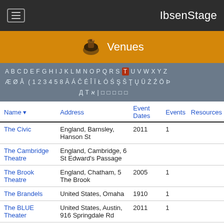IbsenStage
Venues
A B C D E F G H I J K L M N O P Q R S T U V W X Y Z Æ Ø Å ( 1 2 3 4 5 8 Ā Á Č É Î Ï Ł Ó Ś Ş Š Ţ Ų Ü Ż Ź Ö Þ Д Т א | □ □ □ □ □
| Name | Address | Event Dates | Events | Resources |
| --- | --- | --- | --- | --- |
| The Civic | England, Barnsley, Hanson St | 2011 | 1 |  |
| The Cambridge Theatre | England, Cambridge, 6 St Edward's Passage |  |  |  |
| The Brook Theatre | England, Chatham, 5 The Brook | 2005 | 1 |  |
| The Brandels | United States, Omaha | 1910 | 1 |  |
| The BLUE Theater | United States, Austin, 916 Springdale Rd | 2011 | 1 |  |
| The Blue Room Theatre - Studio | Australia, Northbridge, Arts | 2013 | 1 |  |